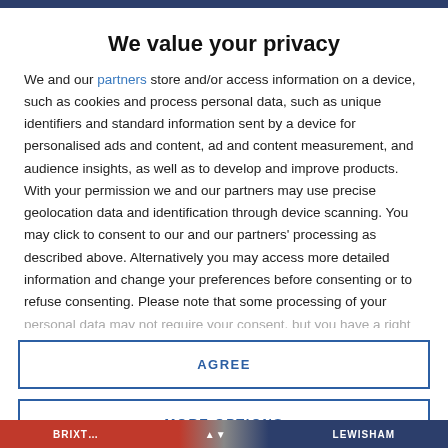We value your privacy
We and our partners store and/or access information on a device, such as cookies and process personal data, such as unique identifiers and standard information sent by a device for personalised ads and content, ad and content measurement, and audience insights, as well as to develop and improve products. With your permission we and our partners may use precise geolocation data and identification through device scanning. You may click to consent to our and our partners' processing as described above. Alternatively you may access more detailed information and change your preferences before consenting or to refuse consenting. Please note that some processing of your personal data may not require your consent, but you have a right to
AGREE
MORE OPTIONS
[Figure (photo): Map image showing areas including Brixton and Lewisham]